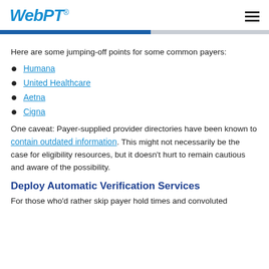WebPT
Here are some jumping-off points for some common payers:
Humana
United Healthcare
Aetna
Cigna
One caveat: Payer-supplied provider directories have been known to contain outdated information. This might not necessarily be the case for eligibility resources, but it doesn't hurt to remain cautious and aware of the possibility.
Deploy Automatic Verification Services
For those who'd rather skip payer hold times and convoluted